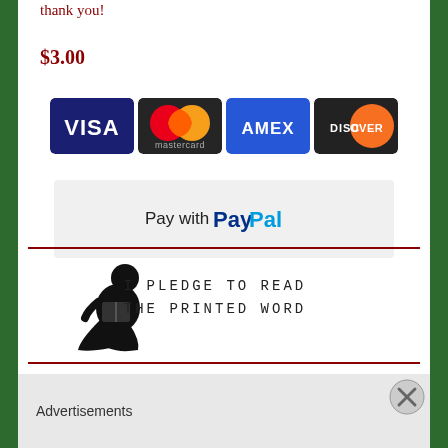thank you!
$3.00
[Figure (other): PayPal payment button with grey background showing 'Pay with PayPal' and payment card icons (Visa, Mastercard, Amex, Discover)]
[Figure (illustration): Silhouette of a person sitting and reading, with text 'I PLEDGE TO READ THE PRINTED WORD' in monospace font]
Tweets by ideasonpapyrus
Advertisements